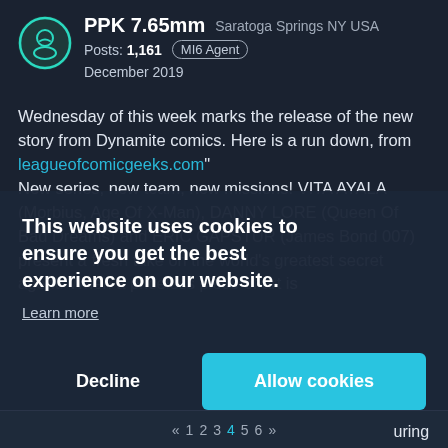PPK 7.65mm  Saratoga Springs NY USA  Posts: 1,161  MI6 Agent  December 2019
Wednesday of this week marks the release of the new story from Dynamite comics. Here is a run down, from leagueofcomicgeeks.com"
New series, new team, new missions! VITA AYALA (Morbius, Age Of X-Man), DANNY LORE (Queen Of Bad Dreams) and ERIC GAPSTUR (James Bond 007) present a fresh take on the world's greatest secret agent. When a priceless piece of art is
This website uses cookies to ensure you get the best experience on our website.
Learn more
Decline
Allow cookies
« 1  2  3  4  5  6  »